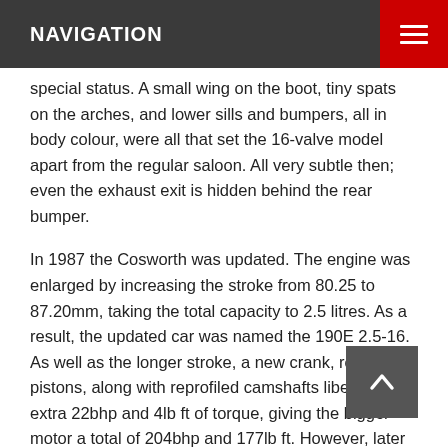NAVIGATION
special status. A small wing on the boot, tiny spats on the arches, and lower sills and bumpers, all in body colour, were all that set the 16-valve model apart from the regular saloon. All very subtle then; even the exhaust exit is hidden behind the rear bumper.
In 1987 the Cosworth was updated. The engine was enlarged by increasing the stroke from 80.25 to 87.20mm, taking the total capacity to 2.5 litres. As a result, the updated car was named the 190E 2.5-16. As well as the longer stroke, a new crank, rods and pistons, along with reprofiled camshafts liberated an extra 22bhp and 4lb ft of torque, giving the bigger motor a total of 204bhp and 177lb ft. However, later cars with catalytic converters fitted – necessary for emission regulations in some territories at the time – dropped the power back down to 194bhp.
[Figure (photo): Mercedes-Benz 190 Cossie - sideways]